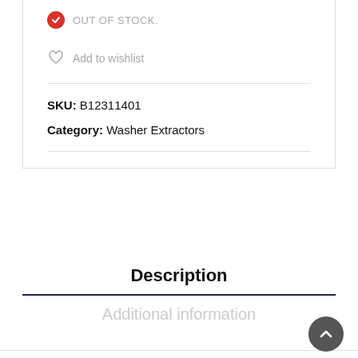OUT OF STOCK.
Add to wishlist
SKU: B12311401
Category: Washer Extractors
Description
Additional information